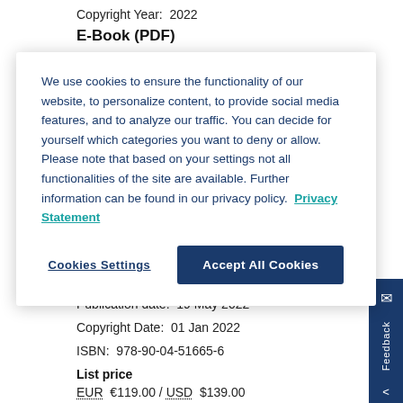Copyright Year:  2022
E-Book (PDF)
We use cookies to ensure the functionality of our website, to personalize content, to provide social media features, and to analyze our traffic. You can decide for yourself which categories you want to deny or allow. Please note that based on your settings not all functionalities of the site are available. Further information can be found in our privacy policy.  Privacy Statement
Cookies Settings
Accept All Cookies
Publication date:  19 May 2022
Copyright Date:  01 Jan 2022
ISBN:  978-90-04-51665-6
List price
EUR  €119.00 / USD  $139.00
Writing for Kenya